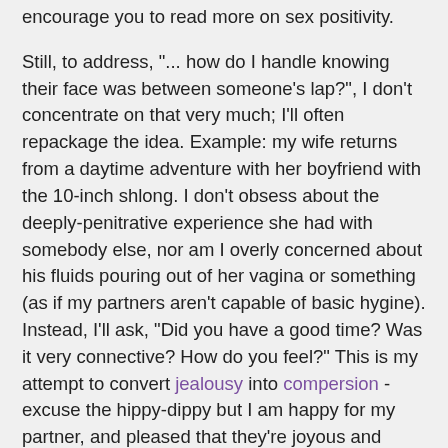encourage you to read more on sex positivity.
Still, to address, "... how do I handle knowing their face was between someone's lap?", I don't concentrate on that very much; I'll often repackage the idea. Example: my wife returns from a daytime adventure with her boyfriend with the 10-inch shlong. I don't obsess about the deeply-penitrative experience she had with somebody else, nor am I overly concerned about his fluids pouring out of her vagina or something (as if my partners aren't capable of basic hygine). Instead, I'll ask, "Did you have a good time? Was it very connective? How do you feel?" This is my attempt to convert jealousy into compersion - excuse the hippy-dippy but I am happy for my partner, and pleased that they're joyous and happy. How the act came and went isn't of any big concern to me (unless I intend to eroticize it in efforts to cope with it).
I also trust my partners who have specific safe-sex practice agreements with me as I've with them. I trust that they'll take into consideration my health and emotional well-being.
Aside from that, I would say that I've a certain degree of